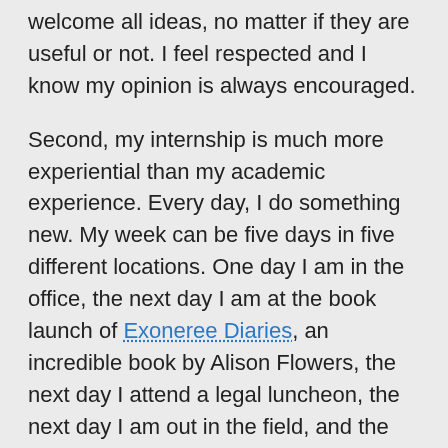welcome all ideas, no matter if they are useful or not. I feel respected and I know my opinion is always encouraged.
Second, my internship is much more experiential than my academic experience. Every day, I do something new. My week can be five days in five different locations. One day I am in the office, the next day I am at the book launch of Exoneree Diaries, an incredible book by Alison Flowers, the next day I attend a legal luncheon, the next day I am out in the field, and the next I am attending an evidentiary hearing for one of our investigative cases. Through these unique opportunities in my internship, I am gaining tangible skills to bring back to school or to future job opportunities. My writing has absolutely improved through our investigative journalism workshops,